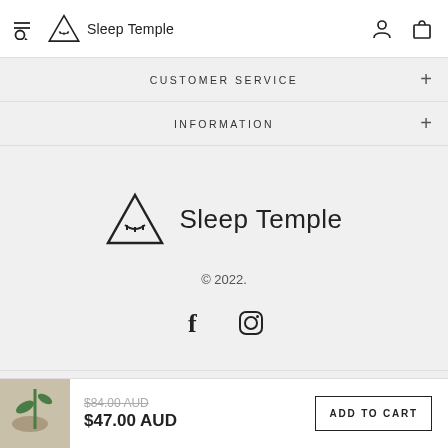Sleep Temple
CUSTOMER SERVICE
INFORMATION
[Figure (logo): Sleep Temple triangle logo with closed eye lashes inside, followed by text 'Sleep Temple']
© 2022.
[Figure (infographic): Facebook and Instagram social media icons]
[Figure (infographic): Payment method icons: Afterpay, American Express, Apple Pay, Google Pay, Mastercard, PayPal, Shop Pay]
$84.00 AUD (strikethrough) $47.00 AUD
ADD TO CART